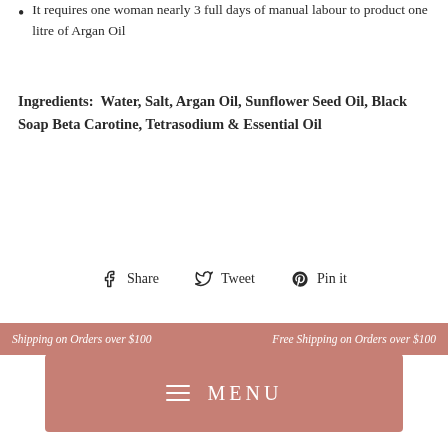It requires one woman nearly 3 full days of manual labour to product one litre of Argan Oil
Ingredients:  Water, Salt, Argan Oil, Sunflower Seed Oil, Black Soap Beta Carotine, Tetrasodium & Essential Oil
[Figure (infographic): Social sharing icons: Facebook Share, Twitter Tweet, Pinterest Pin it]
Shipping on Orders over $100    Free Shipping on Orders over $100
[Figure (other): Menu button with hamburger icon and MENU text on dusty rose background]